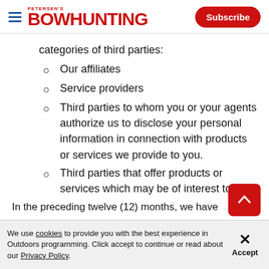Petersen's Bowhunting — Subscribe
categories of third parties:
Our affiliates
Service providers
Third parties to whom you or your agents authorize us to disclose your personal information in connection with products or services we provide to you.
Third parties that offer products or services which may be of interest to you.
In the preceding twelve (12) months, we have s…
We use cookies to provide you with the best experience in Outdoors programming. Click accept to continue or read about our Privacy Policy.